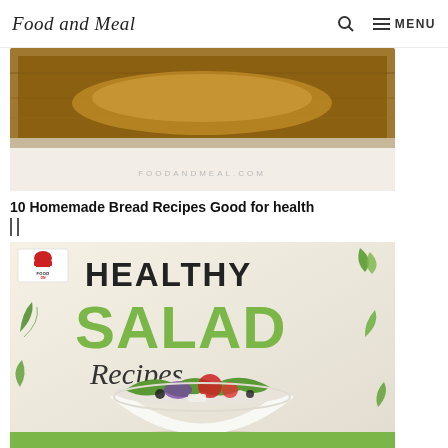Food and Meal  🔍  ☰ MENU
[Figure (photo): Photo of a wooden box/tray with bread, watermark FOODANDMEAL.COM at bottom]
10 Homemade Bread Recipes Good for health
[Figure (infographic): Healthy Salad Recipes promotional image with Food and Meal logo, green leaf decorations, and salad bowl photo]